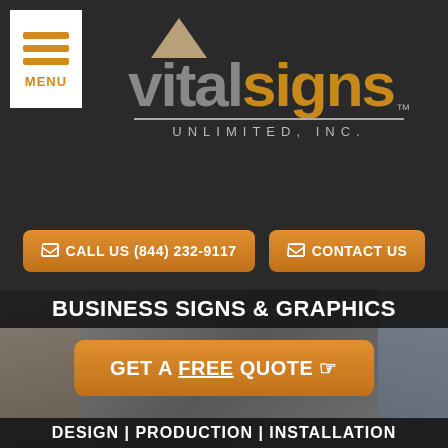[Figure (logo): Vital Signs Unlimited Inc. logo with hamburger menu button and orange CTA buttons: CALL US (844) 232-9117 and CONTACT US]
[Figure (photo): Hero banner with business signs and graphics background showing Starbucks Coffee and 1-800-PayCash signage. Contains BUSINESS SIGNS & GRAPHICS header, GET A FREE QUOTE button, and DESIGN | PRODUCTION | INSTALLATION footer bar]
[Figure (infographic): Red starburst badge with We're Open Phone/Video Consultations Available text]
Open! Now Producing Coronavirus Signage